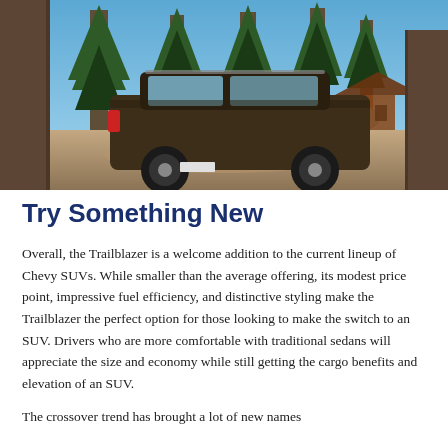[Figure (photo): A dark brown Chevrolet Trailblazer SUV parked on a dirt path surrounded by tall pine trees, with a lake and a cabin visible in the background under a clear blue sky.]
Try Something New
Overall, the Trailblazer is a welcome addition to the current lineup of Chevy SUVs. While smaller than the average offering, its modest price point, impressive fuel efficiency, and distinctive styling make the Trailblazer the perfect option for those looking to make the switch to an SUV. Drivers who are more comfortable with traditional sedans will appreciate the size and economy while still getting the cargo benefits and elevation of an SUV.
The crossover trend has brought a lot of new names